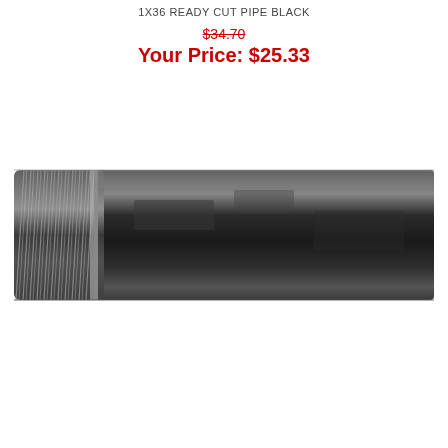1X36 READY CUT PIPE BLACK
$34.70
Your Price: $25.33
[Figure (photo): A black threaded steel pipe (nipple), showing NPT threads on the left end, extending horizontally to the right. The pipe is dark/black in color with a metallic sheen.]